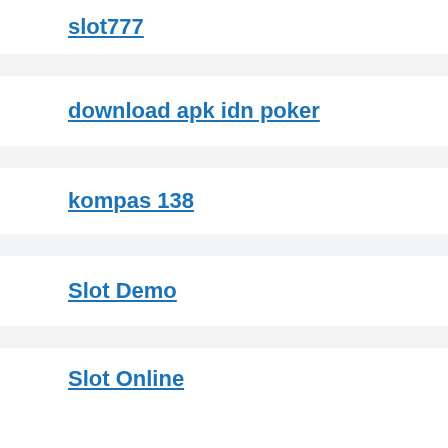slot777
download apk idn poker
kompas 138
Slot Demo
Slot Online